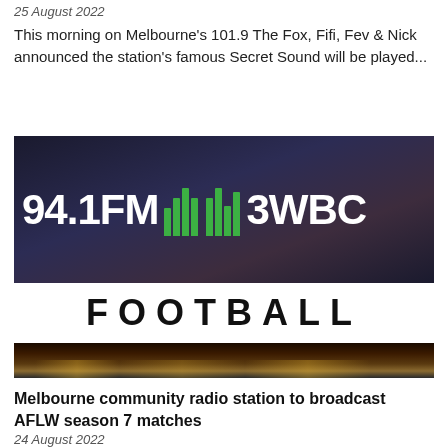25 August 2022
This morning on Melbourne's 101.9 The Fox, Fifi, Fev & Nick announced the station's famous Secret Sound will be played...
[Figure (logo): 94.1FM 3WBC Football radio station logo with equalizer graphic bars in green, white FOOTBALL text on white bar, and stadium image below]
Melbourne community radio station to broadcast AFLW season 7 matches
24 August 2022